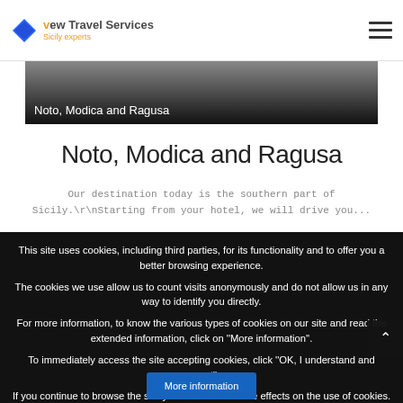View Travel Services - Sicily experts
[Figure (screenshot): Navigation banner with 'Noto, Modica and Ragusa' label over dark gradient background]
Noto, Modica and Ragusa
Our destination today is the southern part of Sicily.\r\nStarting from your hotel, we will drive you...
This site uses cookies, including third parties, for its functionality and to offer you a better browsing experience.
The cookies we use allow us to count visits anonymously and do not allow us in any way to identify you directly.
For more information, to know the various types of cookies on our site and read the extended information, click on ''More information''.
To immediately access the site accepting cookies, click ''OK, I understand and accept''.
If you continue to browse the site you consent to all the effects on the use of cookies. Otherwise, you can leave the site.